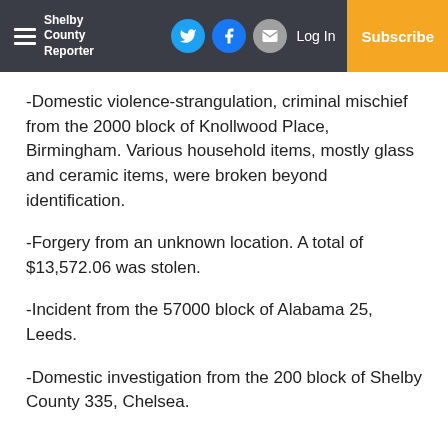Shelby County Reporter — Log In | Subscribe
-Domestic violence-strangulation, criminal mischief from the 2000 block of Knollwood Place, Birmingham. Various household items, mostly glass and ceramic items, were broken beyond identification.
-Forgery from an unknown location. A total of $13,572.06 was stolen.
-Incident from the 57000 block of Alabama 25, Leeds.
-Domestic investigation from the 200 block of Shelby County 335, Chelsea.